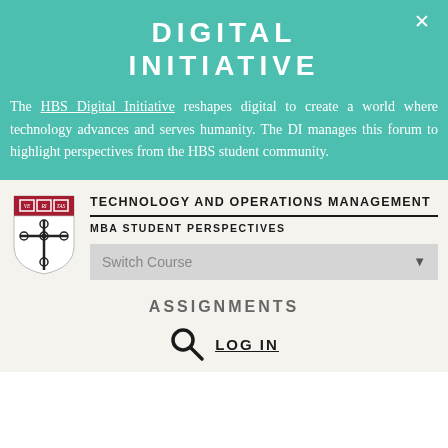DIGITAL INITIATIVE
The HBS Digital Initiative reshapes digital to create a world where technology advances and serves humanity. The DI manages this forum to highlight perspectives from the HBS student community.
TECHNOLOGY AND OPERATIONS MANAGEMENT
MBA STUDENT PERSPECTIVES
Switch Course
ASSIGNMENTS
LOG IN